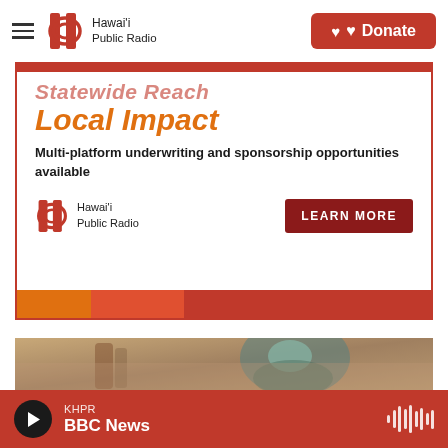Hawai'i Public Radio — Donate
[Figure (infographic): Hawaii Public Radio ad banner: 'Statewide Reach / Local Impact' with text 'Multi-platform underwriting and sponsorship opportunities available', Hawaii Public Radio logo, and LEARN MORE button]
[Figure (photo): Young woman wearing safety glasses and teal shirt smiling in a workshop/lab setting]
KHPR — BBC News (player bar)